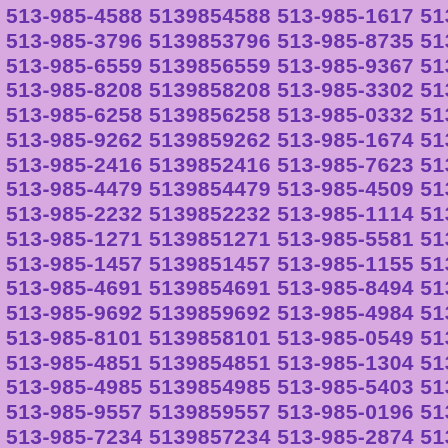513-985-4588 5139854588 513-985-1617 5139851617 513-985-3796 5139853796 513-985-8735 5139858735 513-985-6559 5139856559 513-985-9367 5139859367 513-985-8208 5139858208 513-985-3302 5139853302 513-985-6258 5139856258 513-985-0332 5139850332 513-985-9262 5139859262 513-985-1674 5139851674 513-985-2416 5139852416 513-985-7623 5139857623 513-985-4479 5139854479 513-985-4509 5139854509 513-985-2232 5139852232 513-985-1114 5139851114 513-985-1271 5139851271 513-985-5581 5139855581 513-985-1457 5139851457 513-985-1155 5139851155 513-985-4691 5139854691 513-985-8494 5139858494 513-985-9692 5139859692 513-985-4984 5139854984 513-985-8101 5139858101 513-985-0549 5139850549 513-985-4851 5139854851 513-985-1304 5139851304 513-985-4985 5139854985 513-985-5403 5139855403 513-985-9557 5139859557 513-985-0196 5139850196 513-985-7234 5139857234 513-985-2874 5139852874 513-985-3231 5139853231 513-985-3005 5139853005 513-985-5048 5139855048 513-985-0448 5139850448 513-985-1033 5139851033 513-985-3373 5139853373